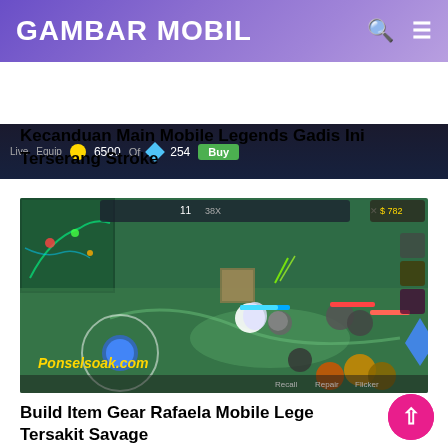GAMBAR MOBIL
[Figure (screenshot): Mobile Legends game UI bar showing Live, Equip tabs, gold count 6500, Of, gem count 254, and Buy button]
Kecanduan Main Mobile Legends Gadis Ini Terserang Stroke
[Figure (screenshot): Mobile Legends gameplay screenshot showing characters fighting on a map with joystick controls and item icons. Watermark: Ponselsoak.com]
Build Item Gear Rafaela Mobile Legends Tersakit Savage